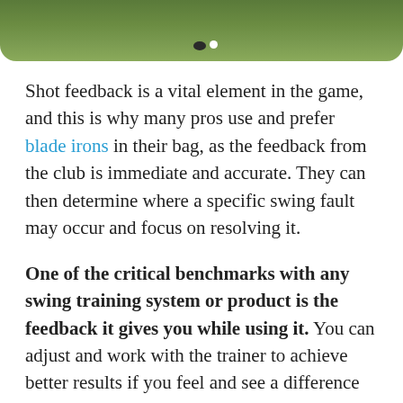[Figure (photo): Partial view of a golf green with grass, a golf ball and a dark hole visible near the top of the image.]
Shot feedback is a vital element in the game, and this is why many pros use and prefer blade irons in their bag, as the feedback from the club is immediate and accurate. They can then determine where a specific swing fault may occur and focus on resolving it.
One of the critical benchmarks with any swing training system or product is the feedback it gives you while using it. You can adjust and work with the trainer to achieve better results if you feel and see a difference during each swing, whether it's on the swing itself or ball striking, shape, flight, or